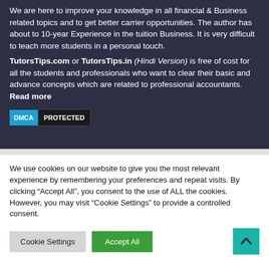We are here to improve your knowledge in all financial & Business related topics and to get better carrier opportunities. The author has about to 10-year Experience in the tuition Business. It is very difficult to teach more students in a personal touch. TutorsTips.com or TutorsTips.in (Hindi Version) is free of cost for all the students and professionals who want to clear their basic and advance concepts which are related to professional accountants. Read more
[Figure (other): DMCA PROTECTED badge]
We use cookies on our website to give you the most relevant experience by remembering your preferences and repeat visits. By clicking "Accept All", you consent to the use of ALL the cookies. However, you may visit "Cookie Settings" to provide a controlled consent.